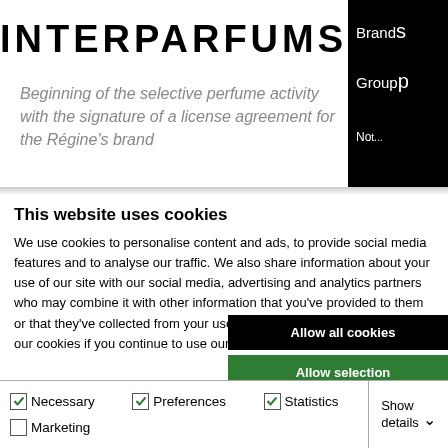INTERPARFUMS
Beginning of the selective perfume activity with the signature of a license agreement for the Régine's brand
This website uses cookies
We use cookies to personalise content and ads, to provide social media features and to analyse our traffic. We also share information about your use of our site with our social media, advertising and analytics partners who may combine it with other information that you've provided to them or that they've collected from your use of their services. You consent to our cookies if you continue to use our website.
Allow all cookies
Allow selection
Use necessary cookies only
Necessary   Preferences   Statistics   Marketing   Show details